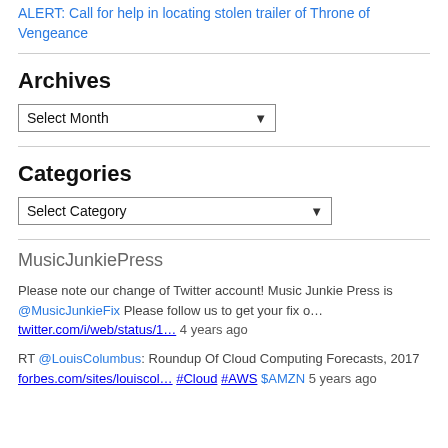ALERT: Call for help in locating stolen trailer of Throne of Vengeance
Archives
[Figure (other): Select Month dropdown widget]
Categories
[Figure (other): Select Category dropdown widget]
MusicJunkiePress
Please note our change of Twitter account! Music Junkie Press is @MusicJunkieFix Please follow us to get your fix o… twitter.com/i/web/status/1… 4 years ago
RT @LouisColumbus: Roundup Of Cloud Computing Forecasts, 2017 forbes.com/sites/louiscol… #Cloud #AWS $AMZN 5 years ago